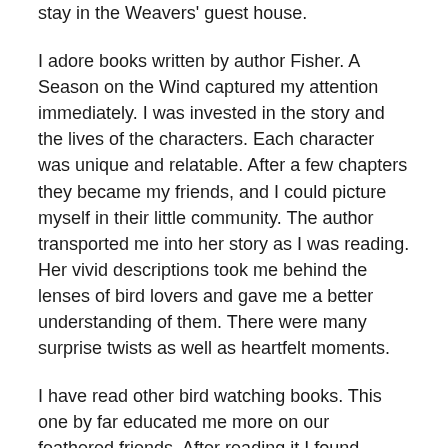stay in the Weavers' guest house.
I adore books written by author Fisher. A Season on the Wind captured my attention immediately. I was invested in the story and the lives of the characters. Each character was unique and relatable. After a few chapters they became my friends, and I could picture myself in their little community. The author transported me into her story as I was reading. Her vivid descriptions took me behind the lenses of bird lovers and gave me a better understanding of them. There were many surprise twists as well as heartfelt moments.
I have read other bird watching books. This one by far educated me more on our feathered friends. After reading it I found myself lingering longer at the kitchen window after making coffee looking at them. I love it when a novel moves me in such a personal way.